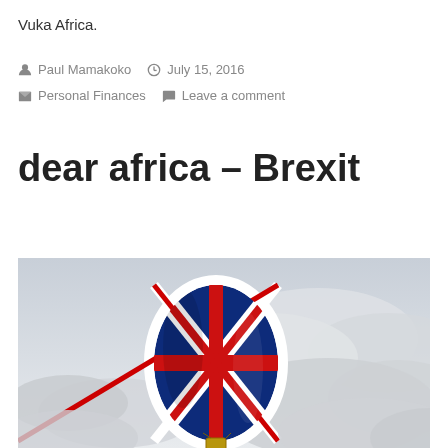Vuka Africa.
Paul Mamakoko  July 15, 2016
Personal Finances  Leave a comment
dear africa – Brexit
[Figure (photo): A hot air balloon decorated with the Union Jack (UK flag) floating against a cloudy sky]